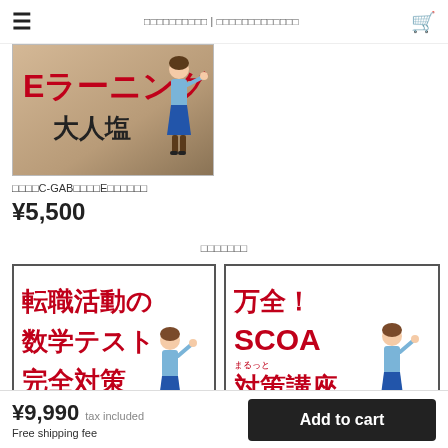≡  ｅラーニング大人塾｜転職・就職のEラーニング  🛒
[Figure (illustration): E-learning adult school product image banner with Japanese text Eラーニング 大人塾 and teacher illustration]
ＣＡＢ・C-GABｅラーニングＥラーニング講座
¥5,500
おすすめ商品
[Figure (illustration): Product card: 転職活動の数学テスト完全対策 with teacher figure]
[Figure (illustration): Product card: 万全！SCOA まるっと 対策講座 with teacher figure]
¥9,990  tax included
Free shipping fee
Add to cart